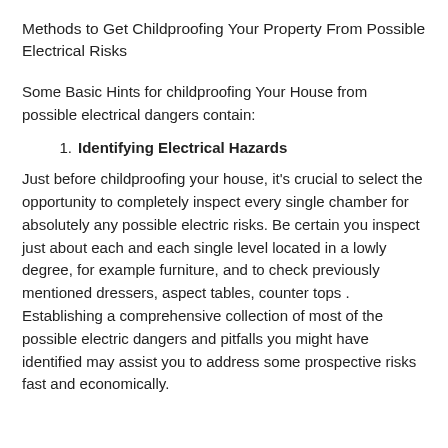Methods to Get Childproofing Your Property From Possible Electrical Risks
Some Basic Hints for childproofing Your House from possible electrical dangers contain:
Identifying Electrical Hazards
Just before childproofing your house, it's crucial to select the opportunity to completely inspect every single chamber for absolutely any possible electric risks. Be certain you inspect just about each and each single level located in a lowly degree, for example furniture, and to check previously mentioned dressers, aspect tables, counter tops . Establishing a comprehensive collection of most of the possible electric dangers and pitfalls you might have identified may assist you to address some prospective risks fast and economically.